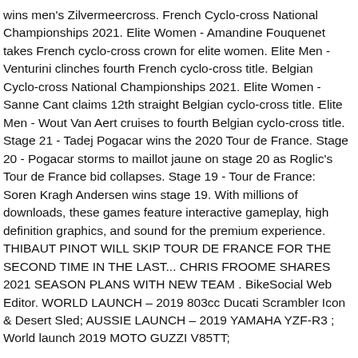wins men's Zilvermeercross. French Cyclo-cross National Championships 2021. Elite Women - Amandine Fouquenet takes French cyclo-cross crown for elite women. Elite Men - Venturini clinches fourth French cyclo-cross title. Belgian Cyclo-cross National Championships 2021. Elite Women - Sanne Cant claims 12th straight Belgian cyclo-cross title. Elite Men - Wout Van Aert cruises to fourth Belgian cyclo-cross title. Stage 21 - Tadej Pogacar wins the 2020 Tour de France. Stage 20 - Pogacar storms to maillot jaune on stage 20 as Roglic's Tour de France bid collapses. Stage 19 - Tour de France: Soren Kragh Andersen wins stage 19. With millions of downloads, these games feature interactive gameplay, high definition graphics, and sound for the premium experience. THIBAUT PINOT WILL SKIP TOUR DE FRANCE FOR THE SECOND TIME IN THE LAST... CHRIS FROOME SHARES 2021 SEASON PLANS WITH NEW TEAM . BikeSocial Web Editor. WORLD LAUNCH – 2019 803cc Ducati Scrambler Icon & Desert Sled; AUSSIE LAUNCH – 2019 YAMAHA YZF-R3 ; World launch 2019 MOTO GUZZI V85TT;